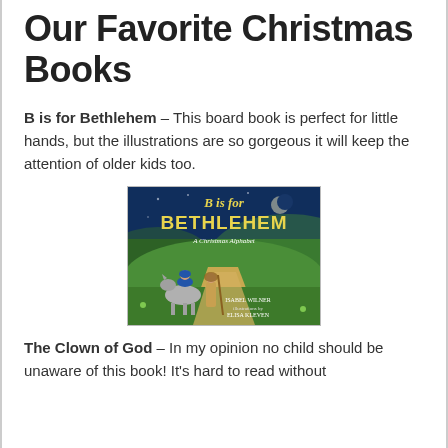Our Favorite Christmas Books
B is for Bethlehem – This board book is perfect for little hands, but the illustrations are so gorgeous it will keep the attention of older kids too.
[Figure (illustration): Cover of the children's book 'B is for Bethlehem: A Christmas Alphabet' by Isabel Wilner, illustrated by Elisa Kleven. Shows Mary on a donkey and Joseph walking on a path toward Bethlehem at night, with green hills and a crescent moon.]
The Clown of God – In my opinion no child should be unaware of this book! It's hard to read without